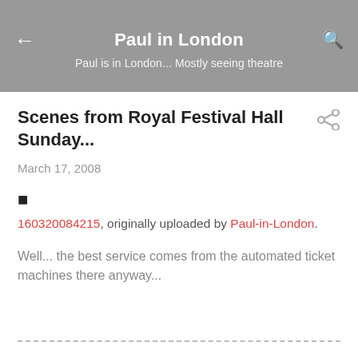Paul in London
Paul is in London... Mostly seeing theatre
Scenes from Royal Festival Hall Sunday...
March 17, 2008
■
160320084215, originally uploaded by Paul-in-London.
Well... the best service comes from the automated ticket machines there anyway...